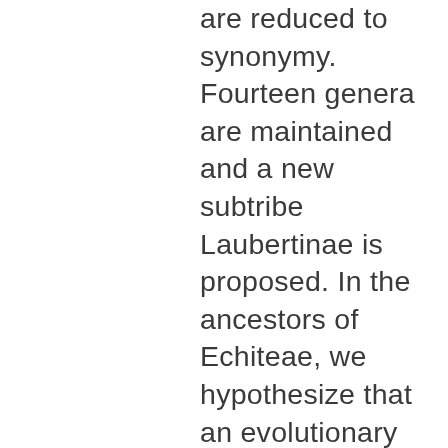are reduced to synonymy. Fourteen genera are maintained and a new subtribe Laubertinae is proposed. In the ancestors of Echiteae, we hypothesize that an evolutionary shift took place in which steroidal alkaloids and/or cardenolides, characteristic for apocynoids, were replaced by parsonsine type pyrrolizidine alkaloids as the henceforth predominant chemical defense compounds. Prestonia is the second largest genus of Echiteae, with ca. 56 species distributed in Tropical America and the West Indies. The last monograph was published in 1936, but it is out